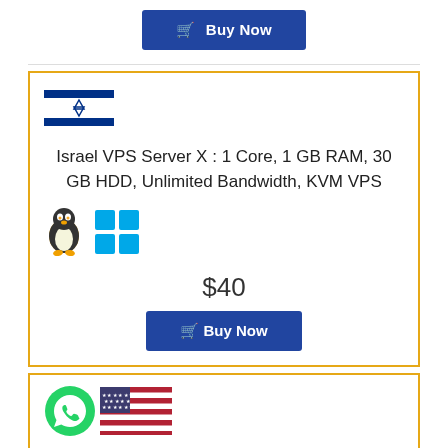[Figure (other): Buy Now button with shopping cart icon, dark blue background]
[Figure (illustration): Israel flag SVG illustration with blue stripes and Star of David]
Israel VPS Server X : 1 Core, 1 GB RAM, 30 GB HDD, Unlimited Bandwidth, KVM VPS
[Figure (illustration): Linux penguin icon and Windows logo icon]
$40
[Figure (other): Buy Now button with shopping cart icon, dark blue background]
[Figure (illustration): WhatsApp icon and USA flag]
USA VPS Server X : 1 Core, 1 GB RAM, 30 GB